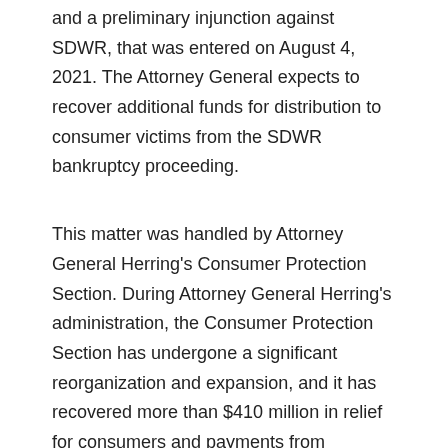and a preliminary injunction against SDWR, that was entered on August 4, 2021. The Attorney General expects to recover additional funds for distribution to consumer victims from the SDWR bankruptcy proceeding.
This matter was handled by Attorney General Herring's Consumer Protection Section. During Attorney General Herring's administration, the Consumer Protection Section has undergone a significant reorganization and expansion, and it has recovered more than $410 million in relief for consumers and payments from violators.